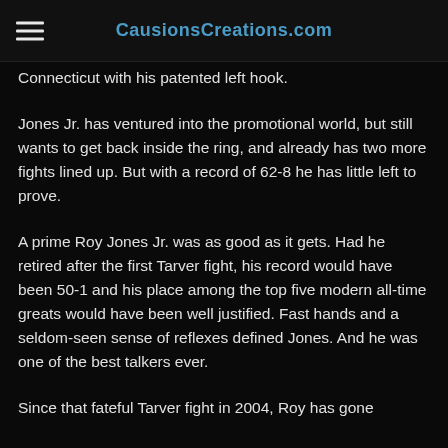CausionsCreations.com
Connecticut with his patented left hook.
Jones Jr. has ventured into the promotional world, but still wants to get back inside the ring, and already has two more fights lined up. But with a record of 62-8 he has little left to prove.
A prime Roy Jones Jr. was as good as it gets. Had he retired after the first Tarver fight, his record would have been 50-1 and his place among the top five modern all-time greats would have been well justified. Fast hands and a seldom-seen sense of reflexes defined Jones. And he was one of the best talkers ever.
Since that fateful Tarver fight in 2004, Roy has gone